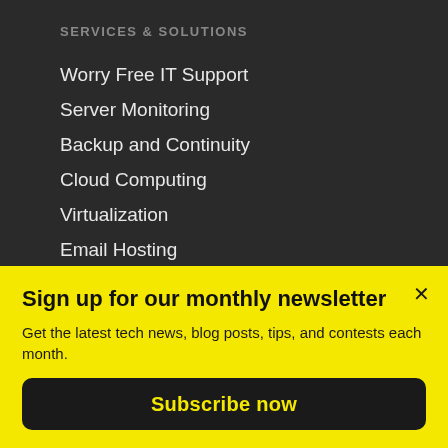SERVICES & SOLUTIONS
Worry Free IT Support
Server Monitoring
Backup and Continuity
Cloud Computing
Virtualization
Email Hosting
Spam and Virus Filtering
Sign up for our monthly newsletter
Get the latest tech news, blog posts, tips, and contests each month.
Subscribe now